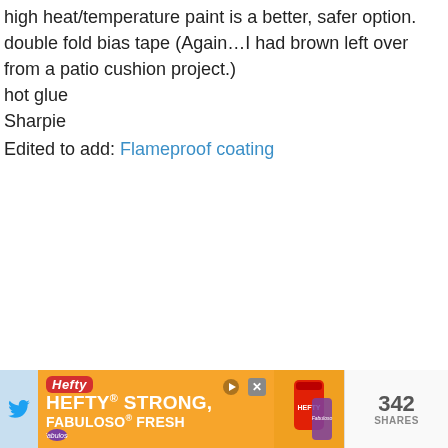high heat/temperature paint is a better, safer option.
double fold bias tape (Again…I had brown left over from a patio cushion project.)
hot glue
Sharpie
Edited to add: Flameproof coating
[Figure (infographic): Advertisement banner for Hefty Ultra Strong and Fabuloso Fresh products, orange background with white bold text reading HEFTY STRONG, FABULOSO FRESH, with product images on right side. Twitter share button on left showing 342 SHARES.]